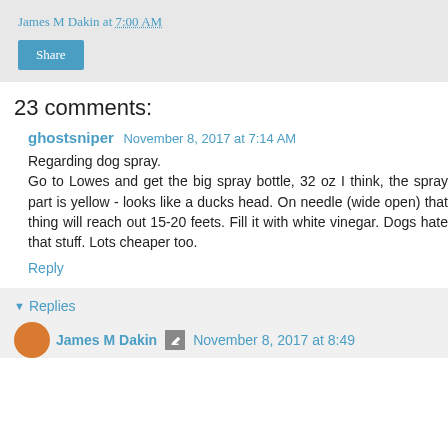James M Dakin at 7:00 AM
Share
23 comments:
ghostsniper November 8, 2017 at 7:14 AM
Regarding dog spray.
Go to Lowes and get the big spray bottle, 32 oz I think, the spray part is yellow - looks like a ducks head. On needle (wide open) that thing will reach out 15-20 feets. Fill it with white vinegar. Dogs hate that stuff. Lots cheaper too.
Reply
▾ Replies
James M Dakin November 8, 2017 at 8:49